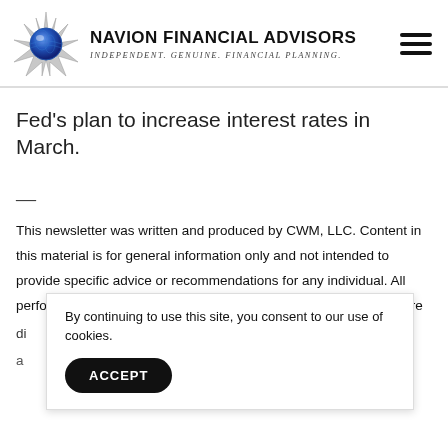Navion Financial Advisors — Independent. Genuine. Financial Planning.
Fed's plan to increase interest rates in March.
—
This newsletter was written and produced by CWM, LLC. Content in this material is for general information only and not intended to provide specific advice or recommendations for any individual. All performance referenced is historical and is no guarantee of future re di a
By continuing to use this site, you consent to our use of cookies.